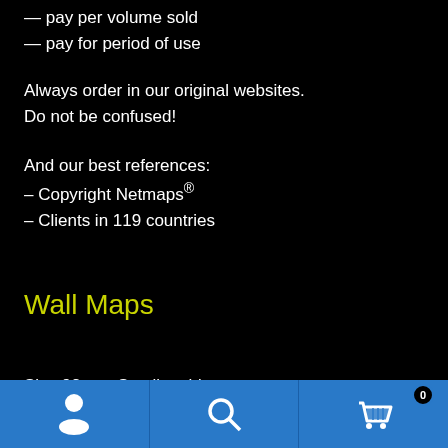— pay per volume sold
— pay for period of use
Always order in our original websites.
Do not be confused!
And our best references:
– Copyright Netmaps®
– Clients in 119 countries
Wall Maps
Size 92 cm. Smaller side
Navigation bar with person, search, and cart (0) icons